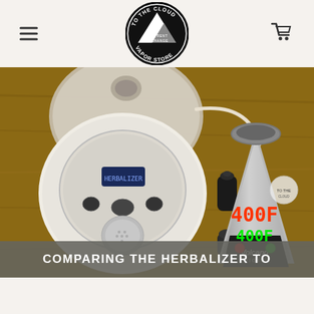[Figure (logo): To The Cloud Vapor Store circular logo in black and white with mountain imagery and text 'BUY, RENT, EXCHANGE VAPOR STORE']
[Figure (photo): Overhead photo of two vaporizers on a wooden table: a round white Herbalizer vaporizer with digital display on the left and a conical silver Volcano Digit vaporizer showing 400F on the right]
COMPARING THE HERBALIZER TO